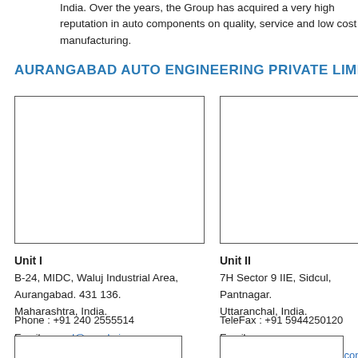India. Over the years, the Group has acquired a very high reputation in auto components on quality, service and low cost manufacturing.
AURANGABAD AUTO ENGINEERING PRIVATE LIMITED
[Figure (photo): Unit I facility photo placeholder box]
[Figure (photo): Unit II facility photo placeholder box]
Unit I
B-24, MIDC, Waluj Industrial Area,
Aurangabad. 431 136.
Maharashtra, India.
Unit II
7H Sector 9 IIE, Sidcul,
Pantnagar.
Uttaranchal, India.
Phone : +91 240 2555514
Email : aaepl@sangkaj.com
TeleFax : +91 5944250120
Email : aaepl.pantnagar@sangkaj.com
[Figure (photo): Additional photo placeholder box left]
[Figure (photo): Additional photo placeholder box right]